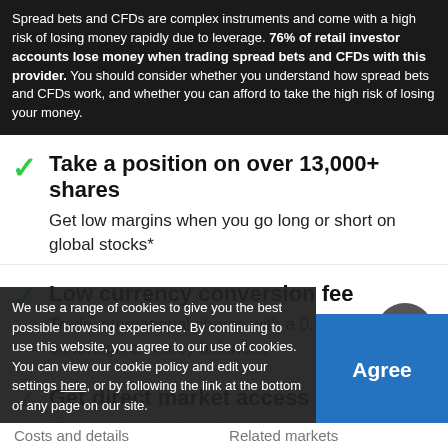Spread bets and CFDs are complex instruments and come with a high risk of losing money rapidly due to leverage. 76% of retail investor accounts lose money when trading spread bets and CFDs with this provider. You should consider whether you understand how spread bets and CFDs work, and whether you can afford to take the high risk of losing your money.
Take a position on over 13,000+ shares
Get low margins when you go long or short on global stocks*
Low currency conversion fee
Trade international shares with a 0.5% transfer fee on foreign currency balances
Get direct market access (DMA)
View market depth and access greater liquidity
We use a range of cookies to give you the best possible browsing experience. By continuing to use this website, you agree to our use of cookies. You can view our cookie policy and edit your settings here, or by following the link at the bottom of any page on our site.
Costs and details    Related markets